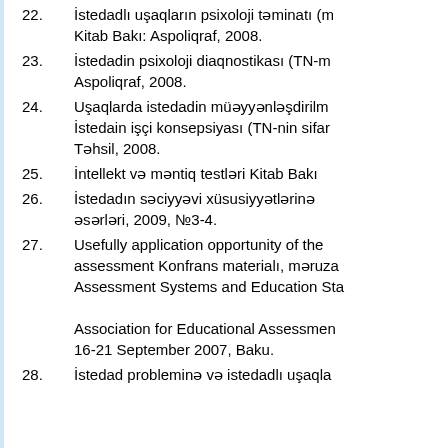22. İstedadlı uşaqların psixoloji təminatı (m... Kitab Bakı: Aspoliqraf, 2008.
23. İstedadin psixoloji diaqnostikası (TN-m... Aspoliqraf, 2008.
24. Uşaqlarda istedadin müəyyənləşdirilm... İstedain işçi konsepsiyası (TN-nin sifar... Təhsil, 2008.
25. İntellekt və məntiq testləri Kitab Bakı...
26. İstedadın səciyyəvi xüsusiyyətlərinə... əsərləri, 2009, №3-4.
27. Usefully application opportunity of the... assessment Konfrans materialı, məruza... Assessment Systems and Education Sta... Association for Educational Assessmen... 16-21 September 2007, Baku.
28. İstedad probleminə və istedadlı uşaqla...